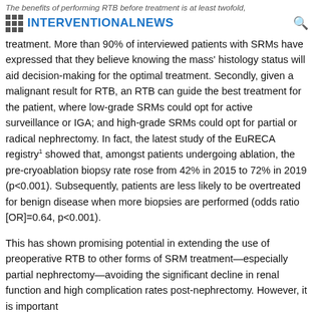The benefits of performing RTB before treatment is at least twofold, this can guide... whether to receive | INTERVENTIONAL NEWS
treatment. More than 90% of interviewed patients with SRMs have expressed that they believe knowing the mass' histology status will aid decision-making for the optimal treatment. Secondly, given a malignant result for RTB, an RTB can guide the best treatment for the patient, where low-grade SRMs could opt for active surveillance or IGA; and high-grade SRMs could opt for partial or radical nephrectomy. In fact, the latest study of the EuRECA registry1 showed that, amongst patients undergoing ablation, the pre-cryoablation biopsy rate rose from 42% in 2015 to 72% in 2019 (p<0.001). Subsequently, patients are less likely to be overtreated for benign disease when more biopsies are performed (odds ratio [OR]=0.64, p<0.001).
This has shown promising potential in extending the use of preoperative RTB to other forms of SRM treatment—especially partial nephrectomy—avoiding the significant decline in renal function and high complication rates post-nephrectomy. However, it is important